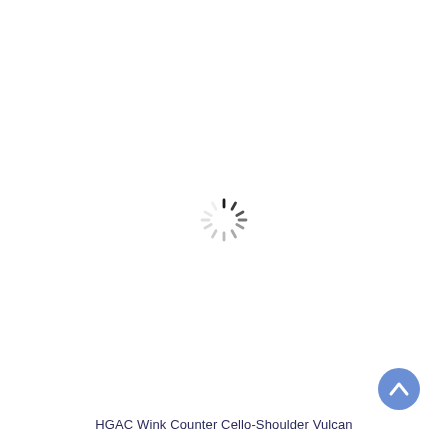[Figure (other): A loading spinner icon centered on a white background — circular arrangement of short radial dashes in varying shades of gray/black, indicating a loading or waiting state.]
[Figure (other): A blue circular back-to-top button in the bottom-right corner containing an upward-pointing chevron/caret arrow icon in white.]
HGAC Wink Counter Cello-Shoulder Vulcan